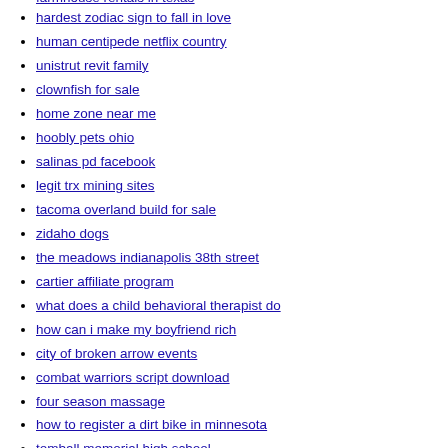farmhouse rentals in texas (partial, top)
hardest zodiac sign to fall in love
human centipede netflix country
unistrut revit family
clownfish for sale
home zone near me
hoobly pets ohio
salinas pd facebook
legit trx mining sites
tacoma overland build for sale
zidaho dogs
the meadows indianapolis 38th street
cartier affiliate program
what does a child behavioral therapist do
how can i make my boyfriend rich
city of broken arrow events
combat warriors script download
four season massage
how to register a dirt bike in minnesota
tomball memorial high school
rosenthal jaguar
fps missions star citizen
p valley coach season 2
james river richmond water level
fort myers to miami
fatal crash river road (partial, bottom)